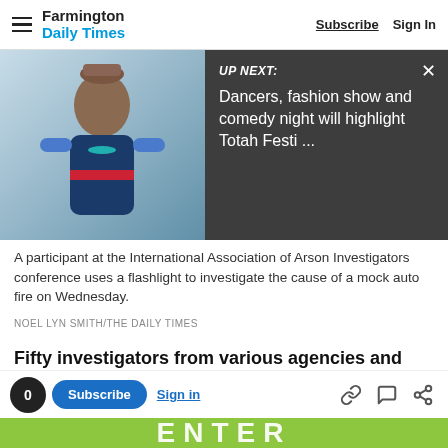Farmington Daily Times | Subscribe | Sign In
[Figure (screenshot): Photo of a woman in traditional Native American attire with a pot on her head, overlaid with a dark 'UP NEXT' panel reading: 'Dancers, fashion show and comedy night will highlight Totah Festi ...']
A participant at the International Association of Arson Investigators conference uses a flashlight to investigate the cause of a mock auto fire on Wednesday.
NOEL LYN SMITH/THE DAILY TIMES
Fifty investigators from various agencies and businesses in New Mexico and Colorado attended the weeklong training.
Advertisement
0 | Subscribe | Sign in | [link icon] [comment icon] [share icon]